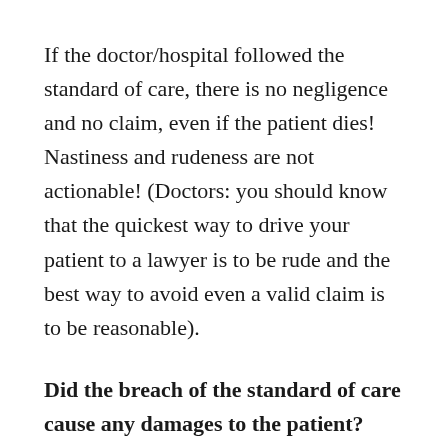If the doctor/hospital followed the standard of care, there is no negligence and no claim, even if the patient dies! Nastiness and rudeness are not actionable! (Doctors: you should know that the quickest way to drive your patient to a lawyer is to be rude and the best way to avoid even a valid claim is to be reasonable).
Did the breach of the standard of care cause any damages to the patient?